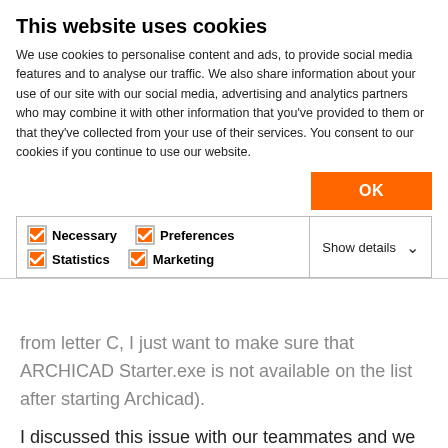This website uses cookies
We use cookies to personalise content and ads, to provide social media features and to analyse our traffic. We also share information about your use of our site with our social media, advertising and analytics partners who may combine it with other information that you've provided to them or that they've collected from your use of their services. You consent to our cookies if you continue to use our website.
OK
Necessary  Preferences  Statistics  Marketing  Show details
from letter C, I just want to make sure that ARCHICAD Starter.exe is not available on the list after starting Archicad).
I discussed this issue with our teammates and we think that probably Archicad and the Bug reporter crash at the same time, therefore, we don't see any process related to Archicad. In such cases, we need the RPT files created in this location: C:\Users\<username>\GRAPHISOFT